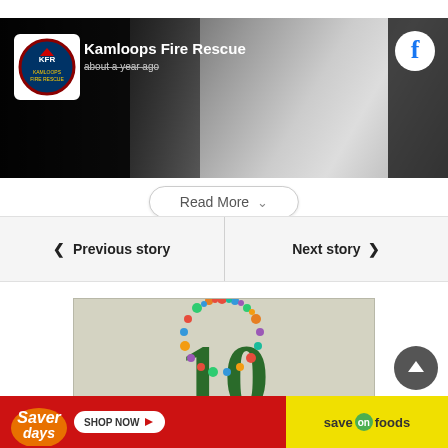[Figure (screenshot): Facebook post header showing Kamloops Fire Rescue page with logo, account name, timestamp 'about a year ago', and Facebook icon on dark background with blurred cover image]
Kamloops Fire Rescue
about a year ago
Read More
< Previous story
Next story >
[Figure (photo): Anniversary image showing the number 10 in dark green with a colorful floral/confetti wreath circle around it, on a light gray-green background]
[Figure (advertisement): Save-On Foods advertisement banner: red left portion with 'Saver days' text in white italic and 'SHOP NOW' button; yellow right portion with 'save on foods' logo]